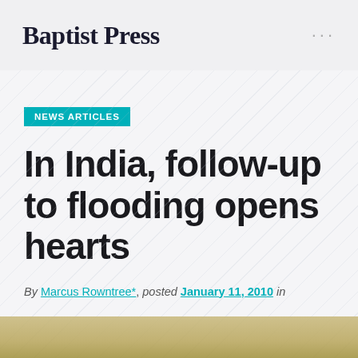Baptist Press
NEWS ARTICLES
In India, follow-up to flooding opens hearts
By Marcus Rowntree*, posted January 11, 2010 in